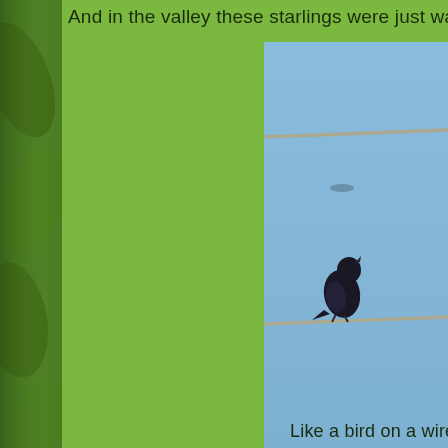And in the valley these starlings were just watching the wo
[Figure (photo): A starling bird perched on a wire against a clear blue sky, with power lines visible. The bird is silhouetted dark against the light blue sky. Part of a green leaf background is visible on the left side.]
Like a bird on a wire - starlings at